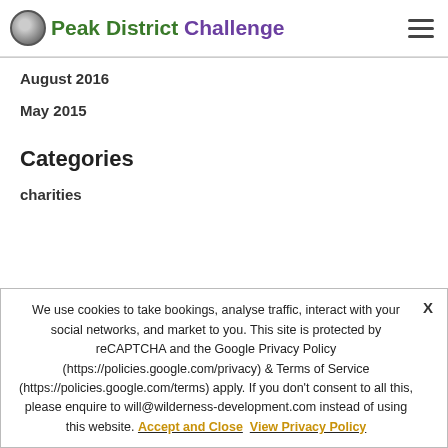Peak District Challenge
August 2016
May 2015
Categories
charities
We use cookies to take bookings, analyse traffic, interact with your social networks, and market to you. This site is protected by reCAPTCHA and the Google Privacy Policy (https://policies.google.com/privacy) & Terms of Service (https://policies.google.com/terms) apply. If you don't consent to all this, please enquire to will@wilderness-development.com instead of using this website. Accept and Close  View Privacy Policy